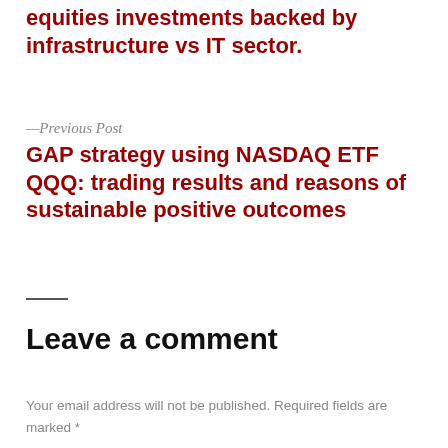equities investments backed by infrastructure vs IT sector.
—Previous Post
GAP strategy using NASDAQ ETF QQQ: trading results and reasons of sustainable positive outcomes
Leave a comment
Your email address will not be published. Required fields are marked *